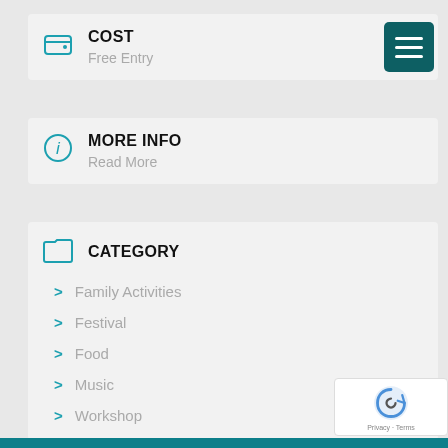COST
Free Entry
MORE INFO
Read More
CATEGORY
Family Activities
Festival
Food
Music
Workshop